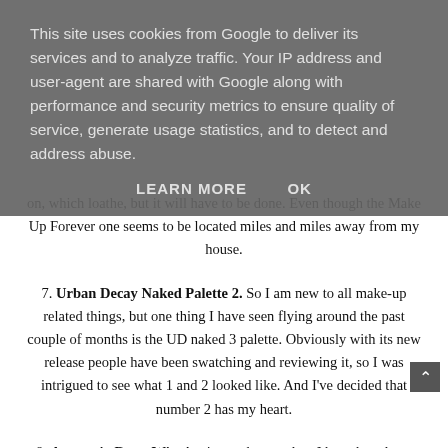This site uses cookies from Google to deliver its services and to analyze traffic. Your IP address and user-agent are shared with Google along with performance and security metrics to ensure quality of service, generate usage statistics, and to detect and address abuse.
LEARN MORE    OK
on, which loathe, but it will have to be done. Even though the Make Up Forever one seems to be located miles and miles away from my house.
7. Urban Decay Naked Palette 2. So I am new to all make-up related things, but one thing I have seen flying around the past couple of months is the UD naked 3 palette. Obviously with its new release people have been swatching and reviewing it, so I was intrigued to see what 1 and 2 looked like. And I've decided that number 2 has my heart.
8. Anastasia Brow Wiz. Again another product I have heard soo much about and I currently have my Maybelline one, but I really want to try this one out. I've heard so much about it on YouTube and